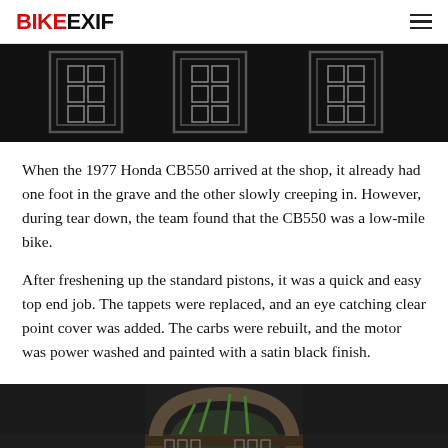BIKEEXIF
[Figure (photo): Dark photograph showing decorative Chinese lattice window panels with geometric square patterns, black background]
When the 1977 Honda CB550 arrived at the shop, it already had one foot in the grave and the other slowly creeping in. However, during tear down, the team found that the CB550 was a low-mile bike.
After freshening up the standard pistons, it was a quick and easy top end job. The tappets were replaced, and an eye catching clear point cover was added. The carbs were rebuilt, and the motor was power washed and painted with a satin black finish.
[Figure (photo): Dark photograph showing an ornate Chinese garden archway or moon gate with bamboo visible through it, traditional architectural details]